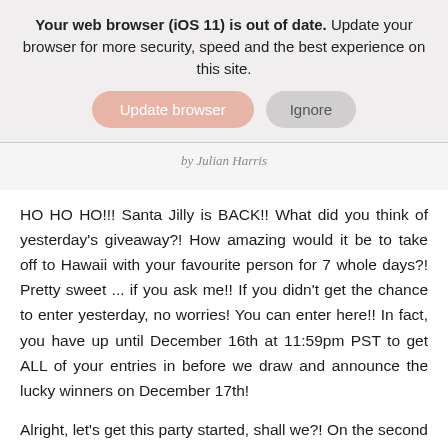Your web browser (iOS 11) is out of date. Update your browser for more security, speed and the best experience on this site.
Update browser | Ignore
by Julian Harris
HO HO HO!!! Santa Jilly is BACK!! What did you think of yesterday's giveaway?! How amazing would it be to take off to Hawaii with your favourite person for 7 whole days?! Pretty sweet ... if you ask me!! If you didn't get the chance to enter yesterday, no worries! You can enter here!! In fact, you have up until December 16th at 11:59pm PST to get ALL of your entries in before we draw and announce the lucky winners on December 17th!
Alright, let's get this party started, shall we?! On the second day of Christmas, Santa Jilly has a deal...